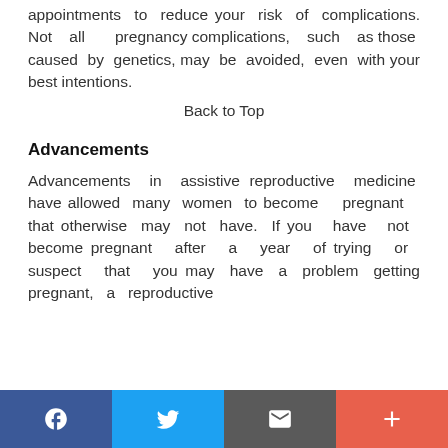appointments to reduce your risk of complications. Not all pregnancy complications, such as those caused by genetics, may be avoided, even with your best intentions.
Back to Top
Advancements
Advancements in assistive reproductive medicine have allowed many women to become pregnant that otherwise may not have. If you have not become pregnant after a year of trying or suspect that you may have a problem getting pregnant, a reproductive
Facebook | Twitter | Email | Plus